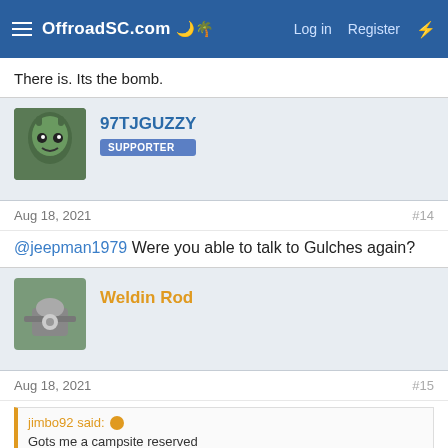OffroadSC.com — Log in | Register
There is. Its the bomb.
97TJGUZZY — SUPPORTER
Aug 18, 2021  #14
@jeepman1979 Were you able to talk to Gulches again?
Weldin Rod
Aug 18, 2021  #15
jimbo92 said: Gots me a campsite reserved
You taking the razor?